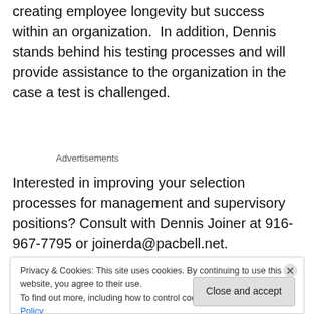creating employee longevity but success within an organization.  In addition, Dennis stands behind his testing processes and will provide assistance to the organization in the case a test is challenged.
Advertisements
Interested in improving your selection processes for management and supervisory positions? Consult with Dennis Joiner at 916-967-7795 or joinerda@pacbell.net.
Privacy & Cookies: This site uses cookies. By continuing to use this website, you agree to their use.
To find out more, including how to control cookies, see here: Cookie Policy
Close and accept